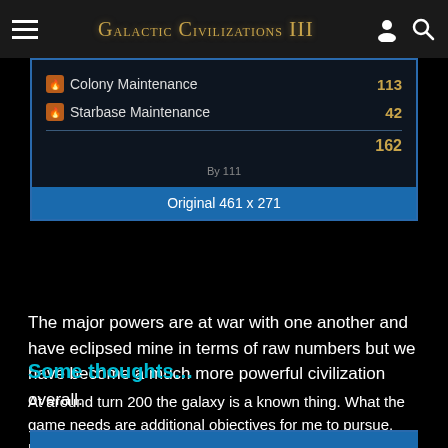Galactic Civilizations III
[Figure (screenshot): Game UI screenshot showing Colony Maintenance: 113, Starbase Maintenance: 42, total: 162. Caption bar reads 'Original 461 x 271'.]
The major powers are at war with one another and have eclipsed mine in terms of raw numbers but we have become a much more powerful civilization overall.
Some thoughts…
At around turn 200 the galaxy is a known thing.  What the game needs are additional objectives for me to pursue.  Not quests and not new victory conditions.  Rather, more like directed achievements that are within the game universe's lore.